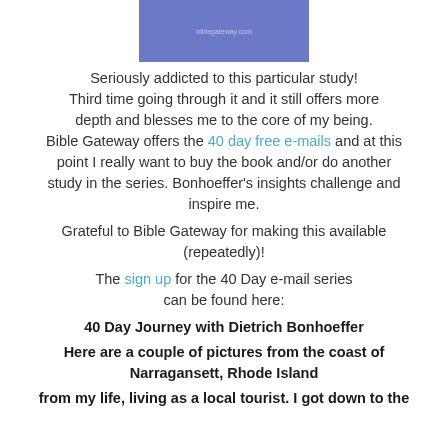[Figure (other): Blue/purple rectangular image, partially visible at top of page, with small text in center]
Seriously addicted to this particular study! Third time going through it and it still offers more depth and blesses me to the core of my being. Bible Gateway offers the 40 day free e-mails and at this point I really want to buy the book and/or do another study in the series. Bonhoeffer’s insights challenge and inspire me.
Grateful to Bible Gateway for making this available (repeatedly)!
The sign up for the 40 Day e-mail series can be found here:
40 Day Journey with Dietrich Bonhoeffer
Here are a couple of pictures from the coast of Narragansett, Rhode Island
from my life, living as a local tourist. I got down to the